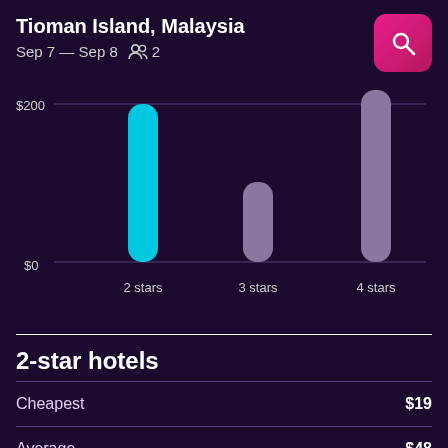Tioman Island, Malaysia
Sep 7 — Sep 8   2
[Figure (bar-chart): Hotel prices by star rating]
2-star hotels
|  |  |
| --- | --- |
| Cheapest | $19 |
| Average | $48 |
| Most expensive | $191 |
Search 2-star hotels